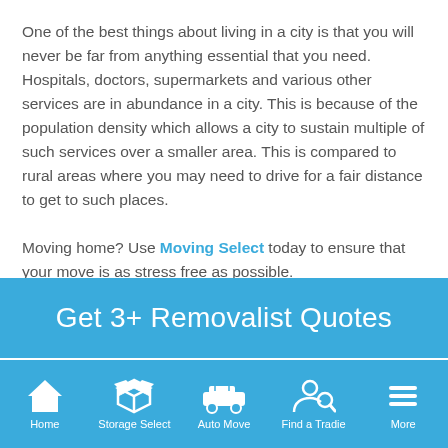One of the best things about living in a city is that you will never be far from anything essential that you need. Hospitals, doctors, supermarkets and various other services are in abundance in a city. This is because of the population density which allows a city to sustain multiple of such services over a smaller area. This is compared to rural areas where you may need to drive for a fair distance to get to such places.

Moving home? Use Moving Select today to ensure that your move is as stress free as possible.
[Figure (infographic): Blue CTA banner with text: Get 3+ Removalist Quotes]
[Figure (infographic): Bottom navigation bar with five icons: Home, Storage Select, Auto Move, Find a Tradie, More]